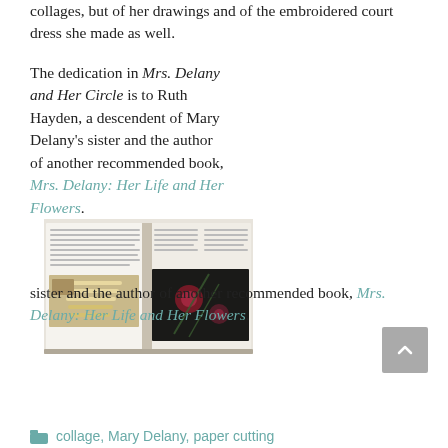collages, but of her drawings and of the embroidered court dress she made as well.
The dedication in Mrs. Delany and Her Circle is to Ruth Hayden, a descendent of Mary Delany's sister and the author of another recommended book, Mrs. Delany: Her Life and Her Flowers.
[Figure (photo): An open book showing text on left page and photographs of embroidery tools and dark floral artwork on right page.]
collage, Mary Delany, paper cutting